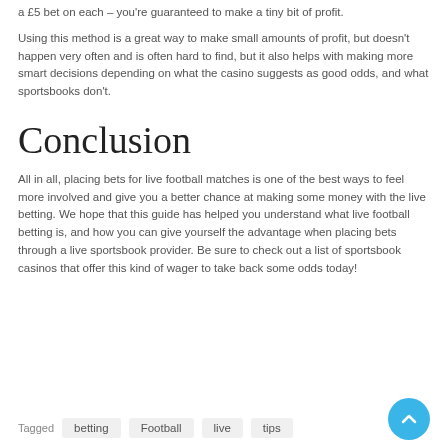a £5 bet on each – you're guaranteed to make a tiny bit of profit.
Using this method is a great way to make small amounts of profit, but doesn't happen very often and is often hard to find, but it also helps with making more smart decisions depending on what the casino suggests as good odds, and what sportsbooks don't.
Conclusion
All in all, placing bets for live football matches is one of the best ways to feel more involved and give you a better chance at making some money with the live betting. We hope that this guide has helped you understand what live football betting is, and how you can give yourself the advantage when placing bets through a live sportsbook provider. Be sure to check out a list of sportsbook casinos that offer this kind of wager to take back some odds today!
Tagged  betting  Football  live  tips